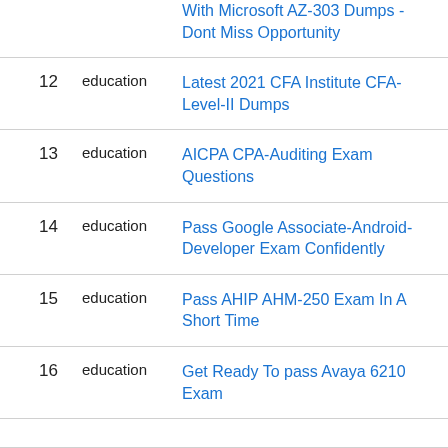| # | category | title |
| --- | --- | --- |
|  | education | With Microsoft AZ-303 Dumps - Dont Miss Opportunity |
| 12 | education | Latest 2021 CFA Institute CFA-Level-II Dumps |
| 13 | education | AICPA CPA-Auditing Exam Questions |
| 14 | education | Pass Google Associate-Android-Developer Exam Confidently |
| 15 | education | Pass AHIP AHM-250 Exam In A Short Time |
| 16 | education | Get Ready To pass Avaya 6210 Exam |